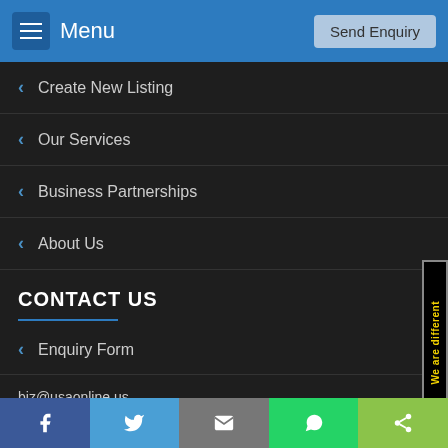Menu | Send Enquiry
Create New Listing
Our Services
Business Partnerships
About Us
CONTACT US
Enquiry Form
biz@usaonline.us
[Figure (illustration): Social media icons: Facebook, Twitter, Instagram]
[Figure (other): Side label: We are different]
Facebook | Twitter | Email | WhatsApp | Share